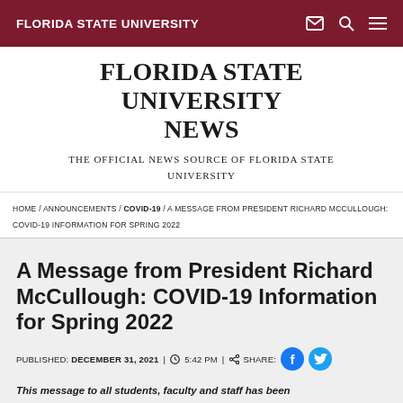FLORIDA STATE UNIVERSITY
FLORIDA STATE UNIVERSITY NEWS
THE OFFICIAL NEWS SOURCE OF FLORIDA STATE UNIVERSITY
HOME / ANNOUNCEMENTS / COVID-19 / A MESSAGE FROM PRESIDENT RICHARD MCCULLOUGH: COVID-19 INFORMATION FOR SPRING 2022
A Message from President Richard McCullough: COVID-19 Information for Spring 2022
PUBLISHED: DECEMBER 31, 2021 | 5:42 PM | SHARE:
This message to all students, faculty and staff has been